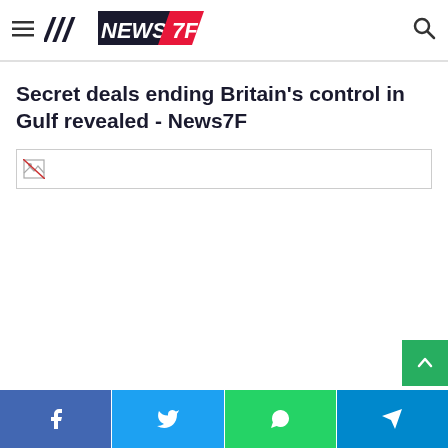NEWS 7F
Secret deals ending Britain's control in Gulf revealed - News7F
[Figure (photo): Broken/missing image placeholder for article photo]
Facebook | Twitter | WhatsApp | Telegram share buttons